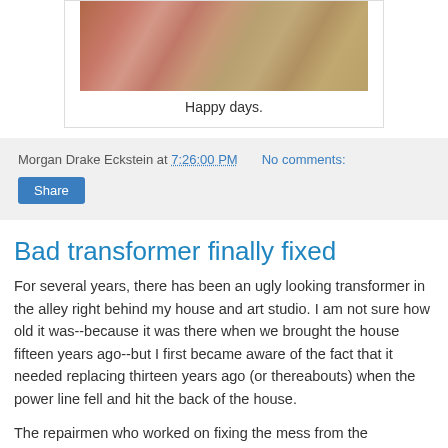[Figure (photo): Top portion of a decorative/artistic photograph showing colorful floral or craft elements]
Happy days.
Morgan Drake Eckstein at 7:26:00 PM   No comments:
Share
Bad transformer finally fixed
For several years, there has been an ugly looking transformer in the alley right behind my house and art studio. I am not sure how old it was--because it was there when we brought the house fifteen years ago--but I first became aware of the fact that it needed replacing thirteen years ago (or thereabouts) when the power line fell and hit the back of the house.
The repairmen who worked on fixing the mess from the